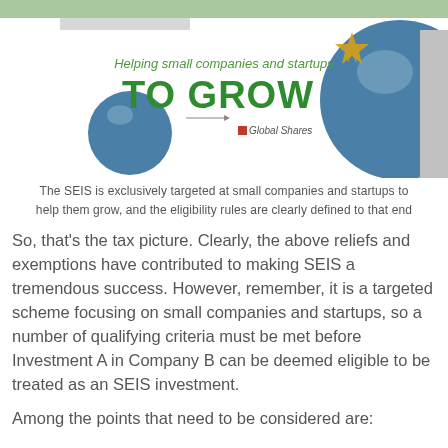[Figure (illustration): Banner image showing 'Helping small companies and startups TO GROW' with Global Shares logo, a gold star graphic, and two blue spheres of different sizes on a white/grey background.]
The SEIS is exclusively targeted at small companies and startups to help them grow, and the eligibility rules are clearly defined to that end
So, that's the tax picture. Clearly, the above reliefs and exemptions have contributed to making SEIS a tremendous success. However, remember, it is a targeted scheme focusing on small companies and startups, so a number of qualifying criteria must be met before Investment A in Company B can be deemed eligible to be treated as an SEIS investment.
Among the points that need to be considered are: